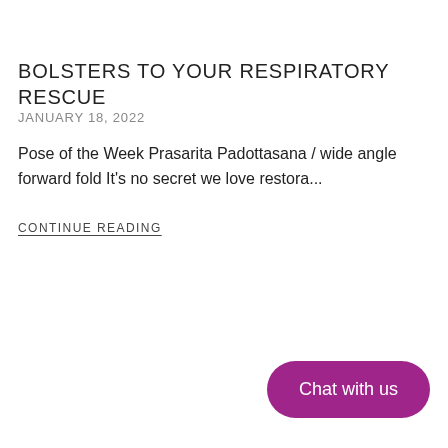BOLSTERS TO YOUR RESPIRATORY RESCUE
JANUARY 18, 2022
Pose of the Week Prasarita Padottasana / wide angle forward fold It's no secret we love restora...
CONTINUE READING
Chat with us